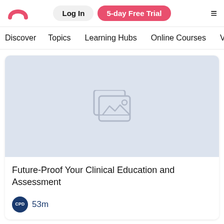[Figure (logo): Pink/red arch rainbow logo]
Log In  5-day Free Trial  ☰
Discover  Topics  Learning Hubs  Online Courses  Vid
[Figure (screenshot): Course card thumbnail placeholder image with grey image icon on light blue-grey background]
Future-Proof Your Clinical Education and Assessment
CPD 53m